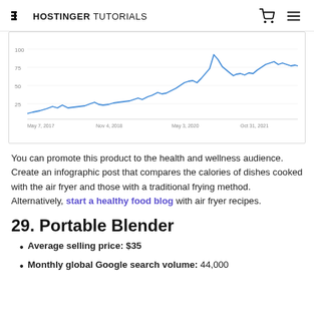HOSTINGER TUTORIALS
[Figure (continuous-plot): Google Trends line chart showing rising interest over time from May 7, 2017 to Oct 31, 2021, with x-axis labels: May 7, 2017; Nov 4, 2018; May 3, 2020; Oct 31, 2021]
You can promote this product to the health and wellness audience. Create an infographic post that compares the calories of dishes cooked with the air fryer and those with a traditional frying method. Alternatively, start a healthy food blog with air fryer recipes.
29. Portable Blender
Average selling price: $35
Monthly global Google search volume: 44,000